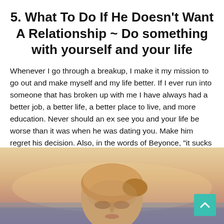5. What To Do If He Doesn't Want A Relationship ~ Do something with yourself and your life
Whenever I go through a breakup, I make it my mission to go out and make myself and my life better. If I ever run into someone that has broken up with me I have always had a better job, a better life, a better place to live, and more education. Never should an ex see you and your life be worse than it was when he was dating you. Make him regret his decision. Also, in the words of Beyonce, "it sucks to be you right now." Meaning that when he looks at you and what he let go, he is going to think "wow I really messed up."
[Figure (photo): A young woman with blonde hair pulled back, photographed from below against a warm sunset sky with soft orange and purple tones. She appears to be looking slightly downward. A teal/turquoise back-to-top arrow button is visible in the bottom-right corner.]